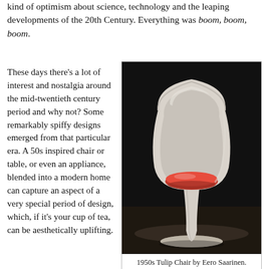kind of optimism about science, technology and the leaping developments of the 20th Century. Everything was boom, boom, boom.
These days there's a lot of interest and nostalgia around the mid-twentieth century period and why not? Some remarkably spiffy designs emerged from that particular era. A 50s inspired chair or table, or even an appliance, blended into a modern home can capture an aspect of a very special period of design, which, if it's your cup of tea, can be aesthetically uplifting.
[Figure (photo): A white Tulip Chair designed by Eero Saarinen with a red cushioned seat, photographed against a dark background.]
1950s Tulip Chair by Eero Saarinen.